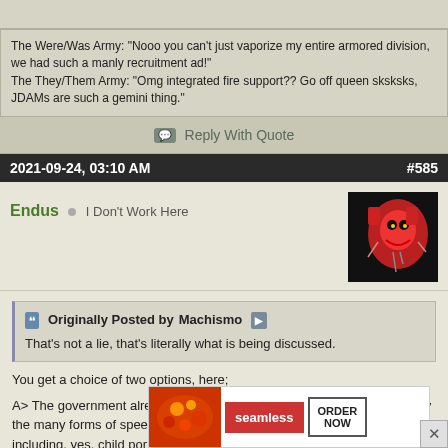The Were/Was Army: "Nooo you can't just vaporize my entire armored division, we had such a manly recruitment ad!"
The They/Them Army: "Omg integrated fire support?? Go off queen sksksks, JDAMs are such a gemini thing."
Reply With Quote
2021-09-24, 03:10 AM    #585
Endus  I Don't Work Here
Originally Posted by Machismo
That's not a lie, that's literally what is being discussed.
You get a choice of two options, here;
A> The government already controls speech, as can be demonstrated by the many forms of speech that are not protected by the First Amendment, including, yes, child porn. You've stated you support this status quo, ergo, you support the government controlling speech, and have no business complaining about further laws in that regard, on that basis.
B> The
[Figure (screenshot): Seamless food delivery advertisement banner with pizza image, red Seamless logo, and ORDER NOW button]